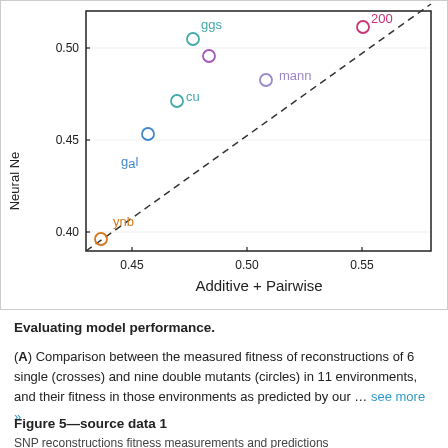[Figure (continuous-plot): Scatter plot comparing Neural Network predictions (y-axis, range ~0.39-0.52) vs Additive + Pairwise predictions (x-axis, range ~0.43-0.58). Points labeled with colored abbreviated environment names: ynbg (orange), gal (blue), cu (teal), ggs (teal), mann (lavender/pink), and others in pink. A dashed diagonal reference line runs from lower-left to upper-right.]
Evaluating model performance. (A) Comparison between the measured fitness of reconstructions of 6 single (crosses) and nine double mutants (circles) in 11 environments, and their fitness in those environments as predicted by our … see more »
Figure 5—source data 1
SNP reconstructions fitness measurements and predictions